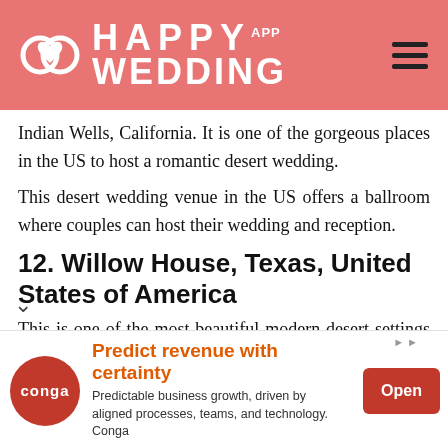HAPPY WEDDING APP
Indian Wells, California. It is one of the gorgeous places in the US to host a romantic desert wedding.
This desert wedding venue in the US offers a ballroom where couples can host their wedding and reception.
12. Willow House, Texas, United States of America
This is one of the most beautiful modern desert settings obtainable for weddings in the United States. Situated on a large plot of land with a stunning
[Figure (screenshot): Advertisement banner for Conga app: 'Predict revenue with certainty. Predictable business growth, driven by aligned processes, teams, and technology. Conga' with an Open button.]